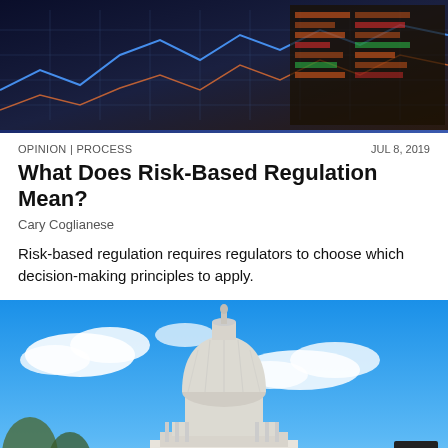[Figure (photo): Financial data charts and graphs displayed on screens, dark background with blue and orange tones]
OPINION | PROCESS    JUL 8, 2019
What Does Risk-Based Regulation Mean?
Cary Coglianese
Risk-based regulation requires regulators to choose which decision-making principles to apply.
[Figure (photo): Photo of the United States Capitol dome against a blue sky with clouds]